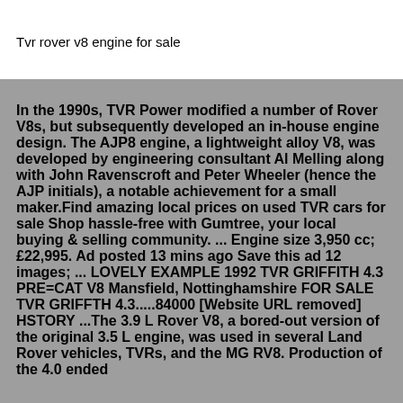Tvr rover v8 engine for sale
In the 1990s, TVR Power modified a number of Rover V8s, but subsequently developed an in-house engine design. The AJP8 engine, a lightweight alloy V8, was developed by engineering consultant Al Melling along with John Ravenscroft and Peter Wheeler (hence the AJP initials), a notable achievement for a small maker.Find amazing local prices on used TVR cars for sale Shop hassle-free with Gumtree, your local buying & selling community. ... Engine size 3,950 cc; £22,995. Ad posted 13 mins ago Save this ad 12 images; ... LOVELY EXAMPLE 1992 TVR GRIFFITH 4.3 PRE=CAT V8 Mansfield, Nottinghamshire FOR SALE TVR GRIFFTH 4.3.....84000 [Website URL removed] HSTORY ...The 3.9 L Rover V8, a bored-out version of the original 3.5 L engine, was used in several Land Rover vehicles, TVRs, and the MG RV8. Production of the 4.0 ended